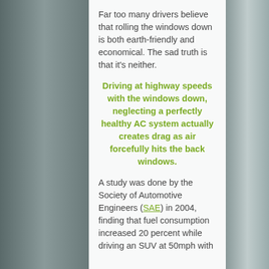Far too many drivers believe that rolling the windows down is both earth-friendly and economical. The sad truth is that it's neither.
Driving at highway speeds with the windows down, neglecting a perfectly healthy AC system actually creates drag as air forcefully hits the back windows.
A study was done by the Society of Automotive Engineers (SAE) in 2004, finding that fuel consumption increased 20 percent while driving an SUV at 50mph with